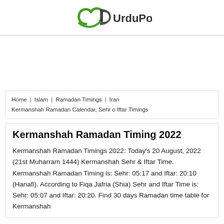[Figure (logo): UrduPoint logo with stylized U and D letters in green and dark grey, with text 'UrduPoint' in dark grey]
Home   Islam   Ramadan Timings   Iran   Kermanshah Ramadan Calendar, Sehr o Iftar Timings
Kermanshah Ramadan Timing 2022
Kermanshah Ramadan Timings 2022: Today's 20 August, 2022 (21st Muharram 1444) Kermanshah Sehr & Iftar Time. Kermanshah Ramadan Timing is: Sehr: 05:17 and Iftar: 20:10 (Hanafi). According to Fiqa Jafria (Shia) Sehr and Iftar Time is: Sehr: 05:07 and Iftar: 20:20. Find 30 days Ramadan time table for Kermanshah